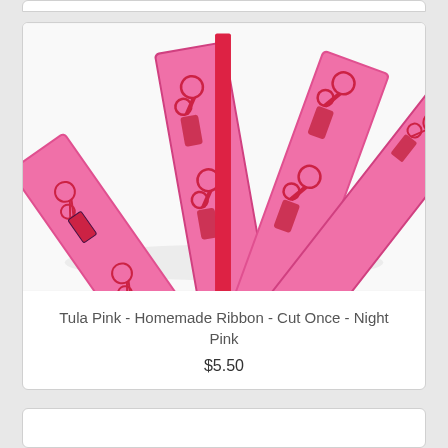[Figure (photo): Pink grosgrain ribbon with scissors print pattern (Tula Pink Homemade fabric line), folded and coiled showing the ribbon layers]
Tula Pink - Homemade Ribbon - Cut Once - Night Pink
$5.50